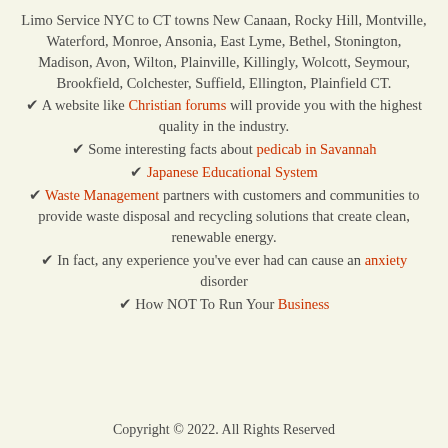Limo Service NYC to CT towns New Canaan, Rocky Hill, Montville, Waterford, Monroe, Ansonia, East Lyme, Bethel, Stonington, Madison, Avon, Wilton, Plainville, Killingly, Wolcott, Seymour, Brookfield, Colchester, Suffield, Ellington, Plainfield CT.
✔ A website like Christian forums will provide you with the highest quality in the industry.
✔ Some interesting facts about pedicab in Savannah
✔ Japanese Educational System
✔ Waste Management partners with customers and communities to provide waste disposal and recycling solutions that create clean, renewable energy.
✔ In fact, any experience you've ever had can cause an anxiety disorder
✔ How NOT To Run Your Business
Copyright © 2022. All Rights Reserved